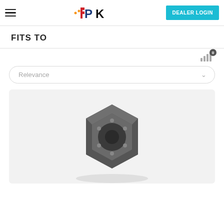IPK — DEALER LOGIN
FITS TO
Relevance (sort dropdown)
[Figure (photo): A dark grey automotive part (appears to be a wheel hub or similar component) shown on a light grey background inside a product card.]